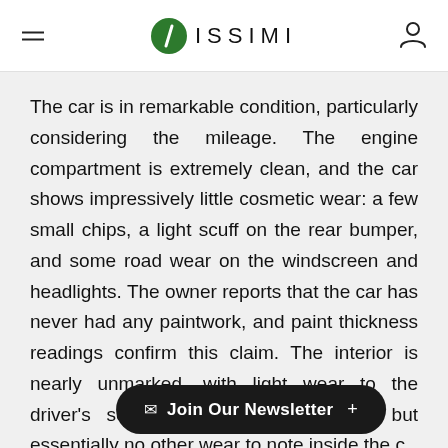ISSIMI
The car is in remarkable condition, particularly considering the mileage. The engine compartment is extremely clean, and the car shows impressively little cosmetic wear: a few small chips, a light scuff on the rear bumper, and some road wear on the windscreen and headlights. The owner reports that the car has never had any paintwork, and paint thickness readings confirm this claim. The interior is nearly unmarked, with light wear to the driver's seat bolster and shift knob, but essentially no other wear to note inside the c
Join Our Newsletter +